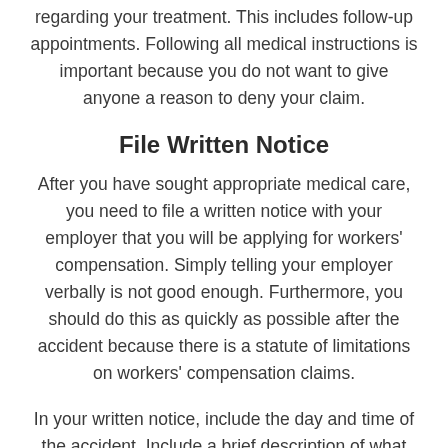regarding your treatment. This includes follow-up appointments. Following all medical instructions is important because you do not want to give anyone a reason to deny your claim.
File Written Notice
After you have sought appropriate medical care, you need to file a written notice with your employer that you will be applying for workers' compensation. Simply telling your employer verbally is not good enough. Furthermore, you should do this as quickly as possible after the accident because there is a statute of limitations on workers' compensation claims.
In your written notice, include the day and time of the accident. Include a brief description of what happened and list your